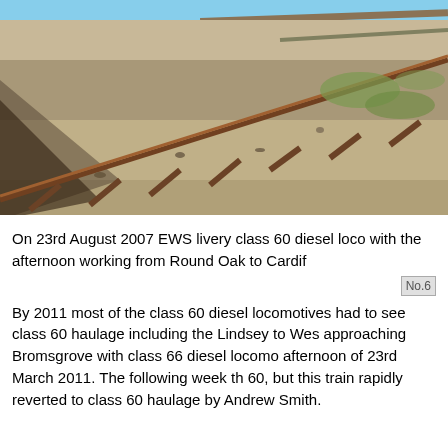[Figure (photo): Photograph of damaged or bent railway track/rail on gravel ballast, with grass and additional track visible in the background. Sky visible at top. The rail appears buckled or displaced.]
On 23rd August 2007 EWS livery class 60 diesel loco with the afternoon working from Round Oak to Cardif
[Figure (photo): Partial image placeholder labeled No.6]
By 2011 most of the class 60 diesel locomotives had to see class 60 haulage including the Lindsey to Wes approaching Bromsgrove with class 66 diesel locomo afternoon of 23rd March 2011. The following week th 60, but this train rapidly reverted to class 60 haulage by Andrew Smith.